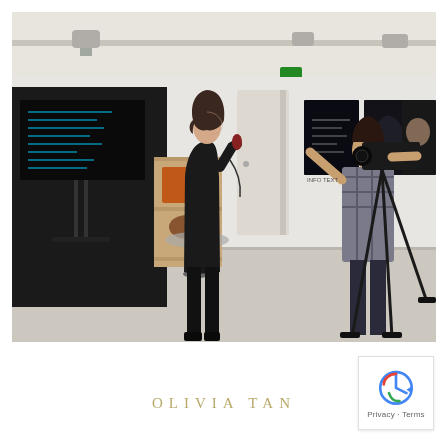[Figure (photo): Interior of an art gallery with white walls. A woman in a black jacket stands in the center holding a microphone, presenting or speaking. To her left is a large display screen mounted on a stand showing text, and a wooden shelving unit with a round glass table. On the right, a man in a plaid shirt operates a professional video camera on a tripod. The walls are hung with several dark-framed photographic artworks. The ceiling has track lighting and visible projectors/cameras.]
OLIVIA TAN